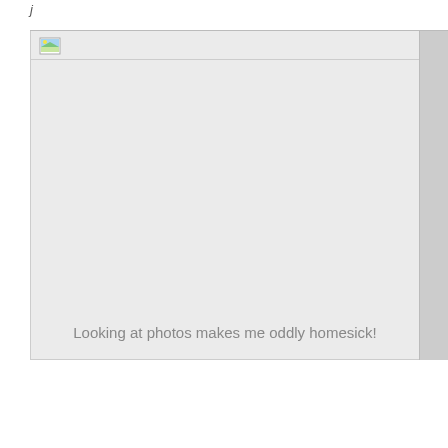[Figure (screenshot): A browser or application window showing a broken/missing image placeholder icon in the top-left, with a large light gray empty image area and caption text at the bottom reading 'Looking at photos makes me oddly homesick!']
Looking at photos makes me oddly homesick!